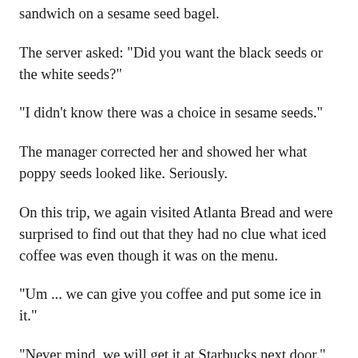sandwich on a sesame seed bagel.
The server asked: "Did you want the black seeds or the white seeds?"
"I didn't know there was a choice in sesame seeds."
The manager corrected her and showed her what poppy seeds looked like. Seriously.
On this trip, we again visited Atlanta Bread and were surprised to find out that they had no clue what iced coffee was even though it was on the menu.
"Um ... we can give you coffee and put some ice in it."
"Never mind, we will get it at Starbucks next door."
We also visited a diner late on Saturday night. Our waitress was Beautii. That is not a typo. She had a hand made name tag with rainbows, stars and BEAUTII drawn on it. Debbie asked what flavor ice creams they had. She said vanilla,